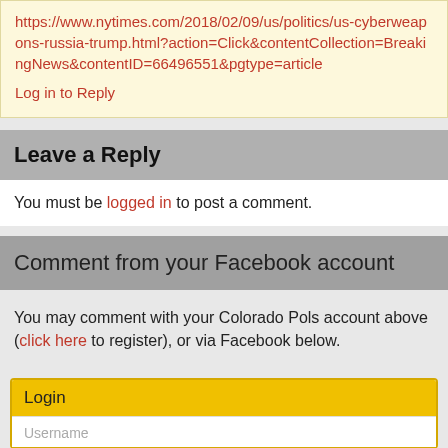https://www.nytimes.com/2018/02/09/us/politics/us-cyberweapons-russia-trump.html?action=Click&contentCollection=BreakingNews&contentID=66496551&pgtype=article
Log in to Reply
Leave a Reply
You must be logged in to post a comment.
Comment from your Facebook account
You may comment with your Colorado Pols account above (click here to register), or via Facebook below.
Login
Username